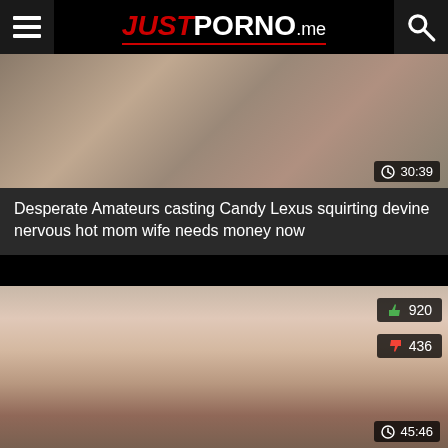JUSTPORNO.me
[Figure (screenshot): Video thumbnail showing a person in a pink top]
30:39
Desperate Amateurs casting Candy Lexus squirting devine nervous hot mom wife needs money now
[Figure (screenshot): Video thumbnail showing people]
920 likes, 436 dislikes, 45:46 duration